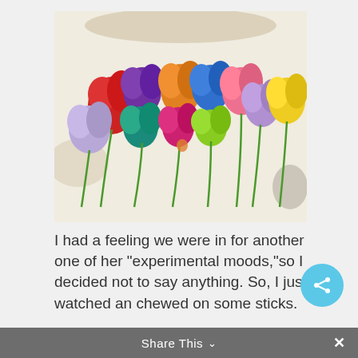[Figure (illustration): Child's crayon/marker drawing of colorful tulips in various colors (red, purple, orange, blue, pink, green, light purple, yellow) with green stems on a light background]
I had a feeling we were in for another one of her “experimental moods,”so I decided not to say anything. So, I just watched an chewed on some sticks.
Share This ∨ ×